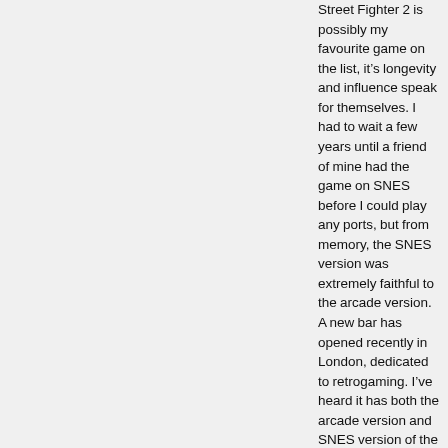Street Fighter 2 is possibly my favourite game on the list, it's longevity and influence speak for themselves. I had to wait a few years until a friend of mine had the game on SNES before I could play any ports, but from memory, the SNES version was extremely faithful to the arcade version. A new bar has opened recently in London, dedicated to retrogaming. I've heard it has both the arcade version and SNES version of the game, so I'll pay them a visit soon and see how they compare over time. Thanks for reading!